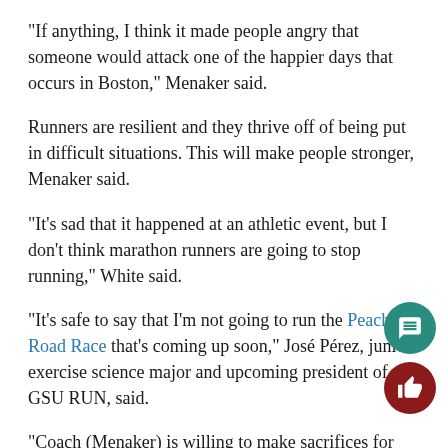“If anything, I think it made people angry that someone would attack one of the happier days that occurs in Boston,” Menaker said.
Runners are resilient and they thrive off of being put in difficult situations. This will make people stronger, Menaker said.
“It’s sad that it happened at an athletic event, but I don’t think marathon runners are going to stop running,” White said.
“It’s safe to say that I’m not going to run the Peachtree Road Race that’s coming up soon,” José Pérez, junior exercise science major and upcoming president of GSU RUN, said.
“Coach (Menaker) is willing to make sacrifices for this club, which means a lot to us because he doesn’t get paid to do this,” Pérez said.